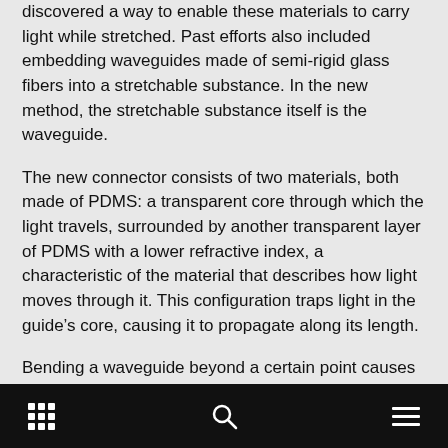discovered a way to enable these materials to carry light while stretched. Past efforts also included embedding waveguides made of semi-rigid glass fibers into a stretchable substance. In the new method, the stretchable substance itself is the waveguide.
The new connector consists of two materials, both made of PDMS: a transparent core through which the light travels, surrounded by another transparent layer of PDMS with a lower refractive index, a characteristic of the material that describes how light moves through it. This configuration traps light in the guide’s core, causing it to propagate along its length.
Bending a waveguide beyond a certain point causes some of the light trapped in the core to escape, a process called optical loss. The Belgian team tested
navigation bar with grid, search, and menu icons